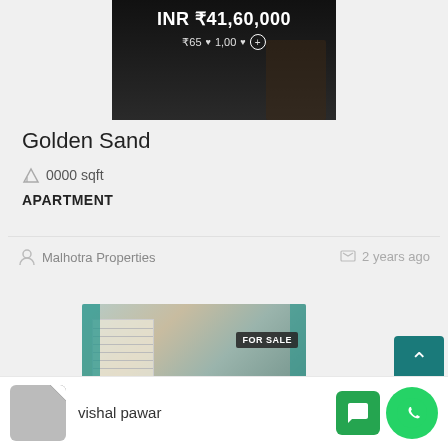[Figure (photo): Property listing image showing price overlay: INR ₹41,60,000 with ₹65/sqft subtext, heart icon and plus circle icon on dark background]
Golden Sand
0000 sqft
APARTMENT
Malhotra Properties
2 years ago
[Figure (photo): Bedroom interior with teal curtains, window with blinds, floral wallpaper, and bed with pillows. FOR SALE badge in top right.]
vishal pawar